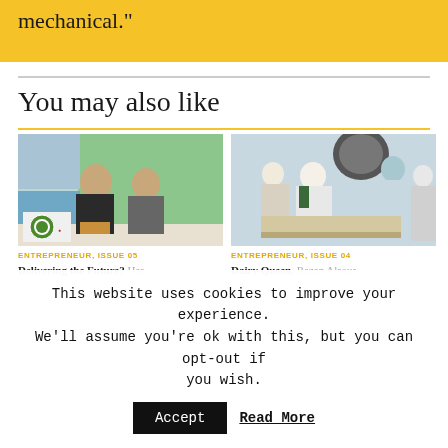mechanical."
You may also like
[Figure (photo): Two people sitting in front of a green wall, smiling at camera - article image for Delivering the Future]
[Figure (photo): Workers in a food production facility wearing white coats and hairnets - article image for Dairy Queen]
ENTREPRENEUR, ISSUE 05
Delivering the Future? Has
ENTREPRENEUR, ISSUE 04
Dairy Queen. Razan Alsous
This website uses cookies to improve your experience. We'll assume you're ok with this, but you can opt-out if you wish.
Accept
Read More